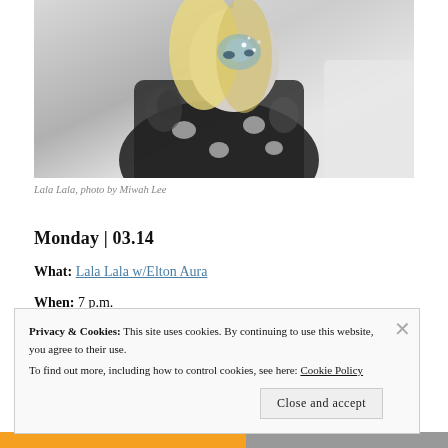[Figure (photo): Photo of Lala Lala, a blonde woman with blue/silver avant-garde face makeup and a dark patterned top with cutouts, leaning forward against a light background.]
Lala Lala, photo by Miwah Lee
Monday | 03.14
What: Lala Lala w/Elton Aura
When: 7 p.m.
Privacy & Cookies: This site uses cookies. By continuing to use this website, you agree to their use.
To find out more, including how to control cookies, see here: Cookie Policy
Close and accept